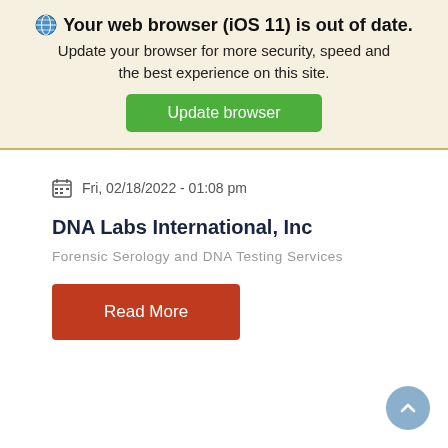Your web browser (iOS 11) is out of date. Update your browser for more security, speed and the best experience on this site. Update browser
Fri, 02/18/2022 - 01:08 pm
DNA Labs International, Inc
Forensic Serology and DNA Testing Services
Read More